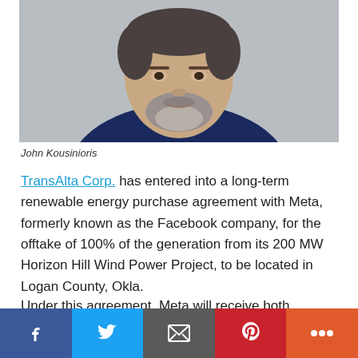[Figure (photo): Headshot photo of John Kousinioris, a middle-aged man with a salt-and-pepper beard wearing a dark navy suit and white shirt, photographed against a light grey background.]
John Kousinioris
TransAlta Corp. has entered into a long-term renewable energy purchase agreement with Meta, formerly known as the Facebook company, for the offtake of 100% of the generation from its 200 MW Horizon Hill Wind Power Project, to be located in Logan County, Okla.
Under this agreement, Meta will receive both renewable electricity and environmental attributes. This long-term